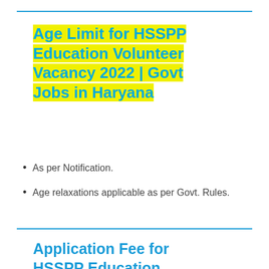Age Limit for HSSPP Education Volunteer Vacancy 2022 | Govt Jobs in Haryana
As per Notification.
Age relaxations applicable as per Govt. Rules.
Application Fee for HSSPP Education Volunteer Jobs 2022 |